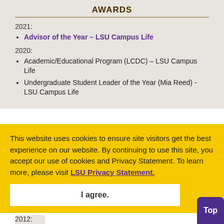AWARDS
2021:
Advisor of the Year – LSU Campus Life
2020:
Academic/Educational Program (LCDC) – LSU Campus Life
Undergraduate Student Leader of the Year (Mia Reed) - LSU Campus Life
This website uses cookies to ensure site visitors get the best experience on our website. By continuing to use this site, you accept our use of cookies and Privacy Statement. To learn more, please visit LSU Privacy Statement.
I agree.
2012: